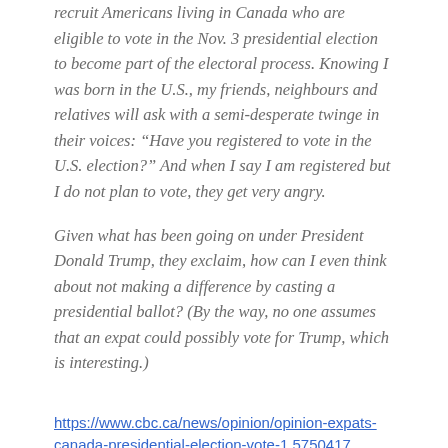recruit Americans living in Canada who are eligible to vote in the Nov. 3 presidential election to become part of the electoral process. Knowing I was born in the U.S., my friends, neighbours and relatives will ask with a semi-desperate twinge in their voices: “Have you registered to vote in the U.S. election?” And when I say I am registered but I do not plan to vote, they get very angry.
Given what has been going on under President Donald Trump, they exclaim, how can I even think about not making a difference by casting a presidential ballot? (By the way, no one assumes that an expat could possibly vote for Trump, which is interesting.)
https://www.cbc.ca/news/opinion/opinion-expats-canada-presidential-election-vote-1.5750417